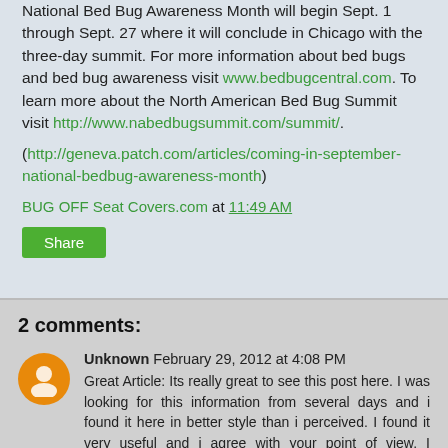National Bed Bug Awareness Month will begin Sept. 1 through Sept. 27 where it will conclude in Chicago with the three-day summit. For more information about bed bugs and bed bug awareness visit www.bedbugcentral.com. To learn more about the North American Bed Bug Summit visit http://www.nabedbugsummit.com/summit/.
(http://geneva.patch.com/articles/coming-in-september-national-bedbug-awareness-month)
BUG OFF Seat Covers.com at 11:49 AM
Share
2 comments:
Unknown February 29, 2012 at 4:08 PM
Great Article: Its really great to see this post here. I was looking for this information from several days and i found it here in better style than i perceived. I found it very useful and i agree with your point of view. I appreciate your effort regarding to managing this cool